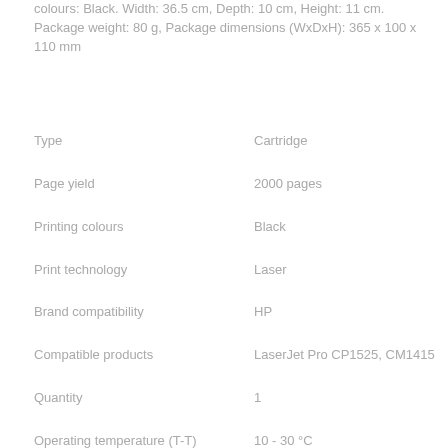colours: Black. Width: 36.5 cm, Depth: 10 cm, Height: 11 cm. Package weight: 80 g, Package dimensions (WxDxH): 365 x 100 x 110 mm
| Attribute | Value |
| --- | --- |
| Type | Cartridge |
| Page yield | 2000 pages |
| Printing colours | Black |
| Print technology | Laser |
| Brand compatibility | HP |
| Compatible products | LaserJet Pro CP1525, CM1415 |
| Quantity | 1 |
| Operating temperature (T-T) | 10 - 30 °C |
| Operating relative humidity (H-H) | 20 - 80% |
| Storage temperature (T-T) | -20 - 40 °C |